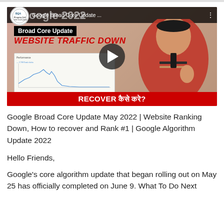[Figure (screenshot): YouTube video thumbnail showing a man in a red jacket gesturing, with text 'Google 2022', 'Broad Core Update', 'WEBSITE TRAFFIC DOWN', a performance chart, and 'RECOVER कैसे करे?' on a red banner. Video title bar shows 'Google Broad Core Update ...' with BQA Blogging QnA logo.]
Google Broad Core Update May 2022 | Website Ranking Down, How to recover and Rank #1 | Google Algorithm Update 2022
Hello Friends,
Google's core algorithm update that began rolling out on May 25 has officially completed on June 9. What To Do Next